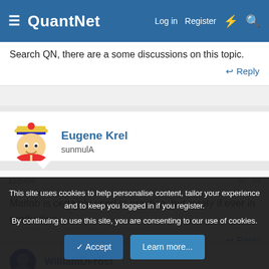QuantNet | Log in | Register
Search QN, there are a some discussions on this topic.
Reply
Eugene Krel
sunmulA
12/5/09
#4
Matlab is certainly used in practice, but rarely if ever in production.
Reply
WilliamDFrost
This site uses cookies to help personalise content, tailor your experience and to keep you logged in if you register.
By continuing to use this site, you are consenting to our use of cookies.